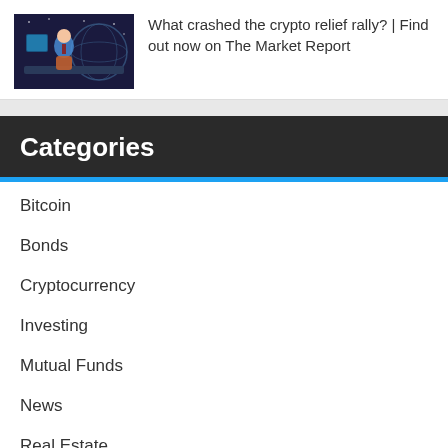[Figure (illustration): Illustrated scene of a news anchor or presenter at a desk with screens and a globe in a dark blue digital environment]
What crashed the crypto relief rally? | Find out now on The Market Report
Categories
Bitcoin
Bonds
Cryptocurrency
Investing
Mutual Funds
News
Real Estate